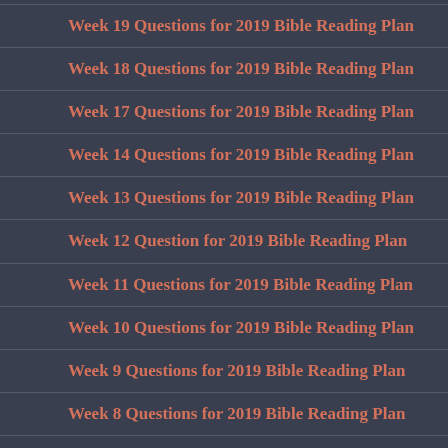Week 19 Questions for 2019 Bible Reading Plan
Week 18 Questions for 2019 Bible Reading Plan
Week 17 Questions for 2019 Bible Reading Plan
Week 14 Questions for 2019 Bible Reading Plan
Week 13 Questions for 2019 Bible Reading Plan
Week 12 Question for 2019 Bible Reading Plan
Week 11 Questions for 2019 Bible Reading Plan
Week 10 Questions for 2019 Bible Reading Plan
Week 9 Questions for 2019 Bible Reading Plan
Week 8 Questions for 2019 Bible Reading Plan
Week 7 Questions for 2019 Bible Reading Plan